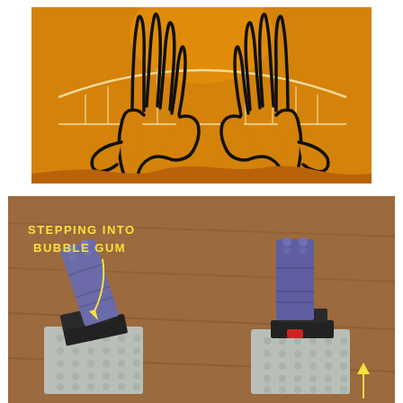[Figure (illustration): Cartoon illustration on orange/golden background showing two hands with fingers spread upward, styled to look like the towers of the Golden Gate Bridge, with a suspension bridge drawn in light yellow/cream lines connecting them above.]
[Figure (photo): Photo on wooden table background showing two LEGO constructions. The left one has a gray baseplate with black LEGO pieces at base and a tilted purple/blue tall LEGO brick leaning at an angle (depicting stepping into bubble gum). The right one has a gray baseplate with black and red pieces at base and a straight upright purple/blue tall LEGO brick. Handwritten yellow text reads 'STEPPING INTO BUBBLE GUM' with an arrow pointing to the leaning brick. A yellow arrow at bottom right points upward.]